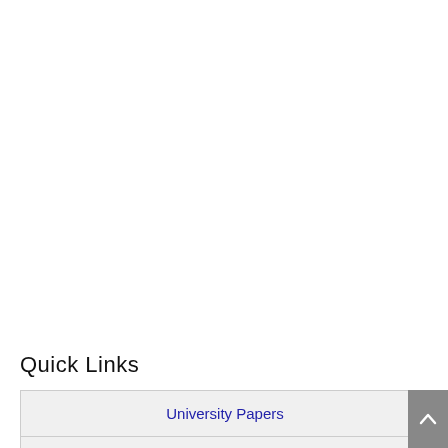Quick Links
University Papers
University Syllabus